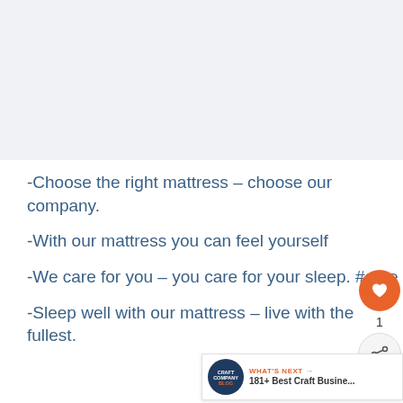[Figure (photo): Image placeholder area at top of page, light grey background]
-Choose the right mattress – choose our company.
-With our mattress you can feel yourself
-We care for you – you care for your sleep. #care
-Sleep well with our mattress – live with the fullest.